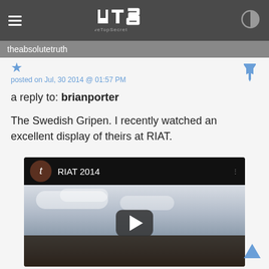ATS AboveTopSecret
theabsolutetruth
posted on Jul, 30 2014 @ 01:57 PM
a reply to: brianporter
The Swedish Gripen. I recently watched an excellent display of theirs at RIAT.
[Figure (screenshot): YouTube video thumbnail showing 'RIAT 2014' with a play button overlay, crowd in the foreground and cloudy sky in the background.]